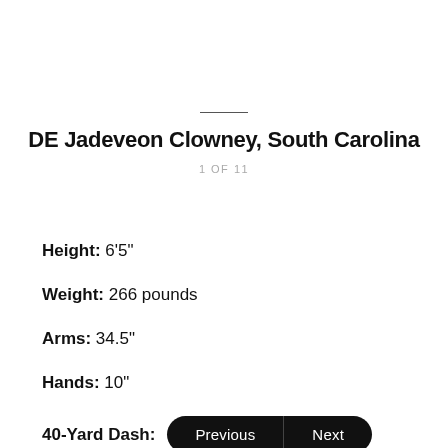DE Jadeveon Clowney, South Carolina
1 OF 11
Height: 6'5"
Weight: 266 pounds
Arms: 34.5"
Hands: 10"
40-Yard Dash:
Bench Press: 34 reps (225 pounds)